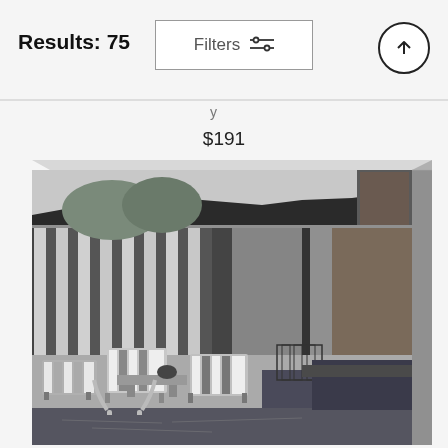Results: 75   Filters   [filter icon]   [scroll up button]
$191
[Figure (photo): Black and white photograph of a mid-century modern house poolside area with patio furniture, lounge chairs with striped cushions, a coffee table, pool ladder in foreground, large windows with curtains, and a stone chimney, presented as a canvas wrap print with perspective showing the right and top edges of the canvas.]